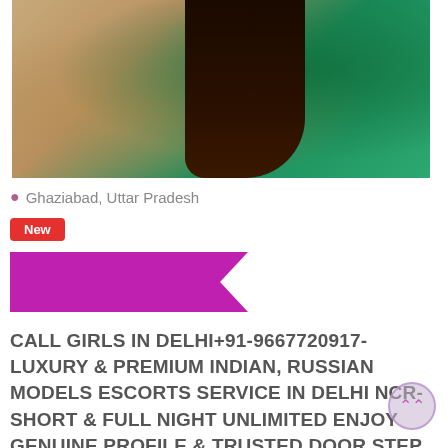[Figure (photo): Photo of a person with dark long hair wearing a green embroidered outfit, photographed from the side/back]
Ghaziabad, Uttar Pradesh
New
[Figure (other): Purple/magenta ribbon/banner shape pointing left]
CALL GIRLS IN DELHI+91-9667720917-LUXURY & PREMIUM INDIAN, RUSSIAN MODELS ESCORTS SERVICE IN DELHI NCR-SHORT & FULL NIGHT UNLIMITED ENJOY GENUINE PROFILE & TRUSTED DOOR STEP ESCORTS SERVICE IN DELHI NCR, FEEL FREE TO CALL US FEMALE SERVICE HOT BUSTY & SEXY PARTY GIRLS AVAILEBAL FOR COMPLETE